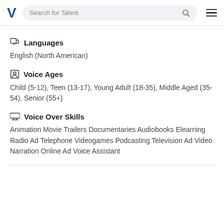Search for Talent
Languages
English (North American)
Voice Ages
Child (5-12), Teen (13-17), Young Adult (18-35), Middle Aged (35-54), Senior (55+)
Voice Over Skills
Animation Movie Trailers Documentaries Audiobooks Elearning Radio Ad Telephone Videogames Podcasting Television Ad Video Narration Online Ad Voice Assistant